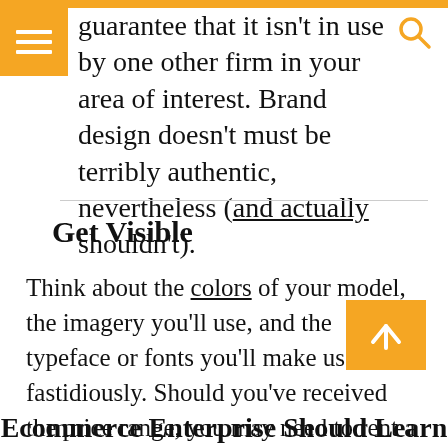guarantee that it isn't in use by one other firm in your area of interest. Brand design doesn't must be terribly authentic, nevertheless (and actually shouldn't).
Get Visible
Think about the colors of your model, the imagery you'll use, and the typeface or fonts you'll make use of fastidiously. Should you've received the price range, you may need to rent a advertising and marketing agency to create a design transient in your firm. If not, you'll be able to create your personal. Simply maintain it constant and browse advertising and marketing suggestions designed to assist enhance your model.
Ecommerce Enterprise Should Learn